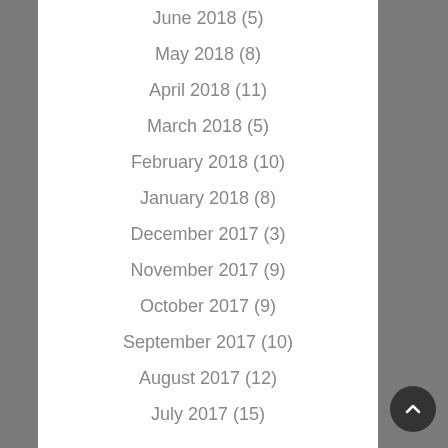June 2018 (5)
May 2018 (8)
April 2018 (11)
March 2018 (5)
February 2018 (10)
January 2018 (8)
December 2017 (3)
November 2017 (9)
October 2017 (9)
September 2017 (10)
August 2017 (12)
July 2017 (15)